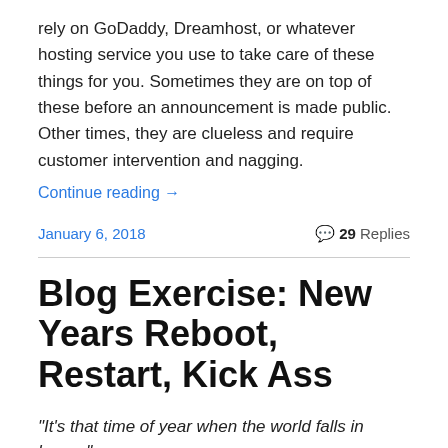rely on GoDaddy, Dreamhost, or whatever hosting service you use to take care of these things for you. Sometimes they are on top of these before an announcement is made public. Other times, they are clueless and require customer intervention and nagging.
Continue reading →
January 6, 2018
29 Replies
Blog Exercise: New Years Reboot, Restart, Kick Ass
“It’s that time of year when the world falls in love…”
THE CHRISTMAS WALTZ BY JULE STYNE AND SAMMY CAHN
I’d like to think that New Year’s thinking includes bringing